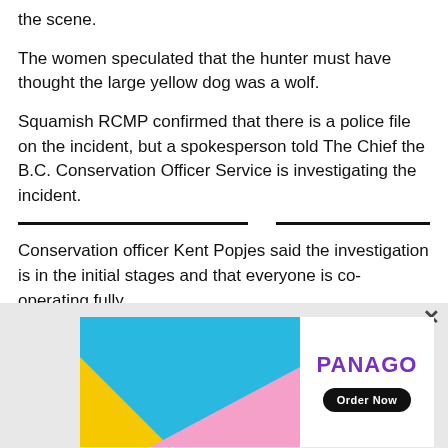the scene.
The women speculated that the hunter must have thought the large yellow dog was a wolf.
Squamish RCMP confirmed that there is a police file on the incident, but a spokesperson told The Chief the B.C. Conservation Officer Service is investigating the incident.
Conservation officer Kent Popjes said the investigation is in the initial stages and that everyone is co-operating fully.
[Figure (other): Panago advertisement banner with colorful geometric shapes (blue, yellow, pink) on the left and Panago logo with Order Now button on the right]